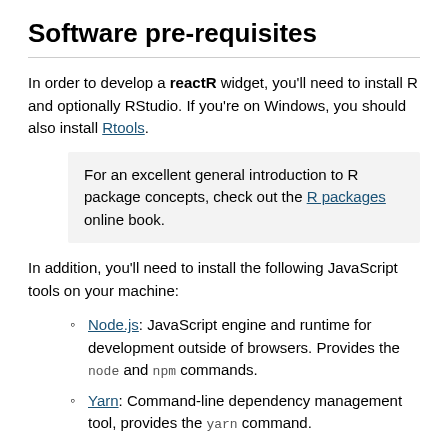Software pre-requisites
In order to develop a reactR widget, you'll need to install R and optionally RStudio. If you're on Windows, you should also install Rtools.
For an excellent general introduction to R package concepts, check out the R packages online book.
In addition, you'll need to install the following JavaScript tools on your machine:
Node.js: JavaScript engine and runtime for development outside of browsers. Provides the node and npm commands.
Yarn: Command-line dependency management tool, provides the yarn command.
To follow along in this vignette, you'll also need the following R packages: